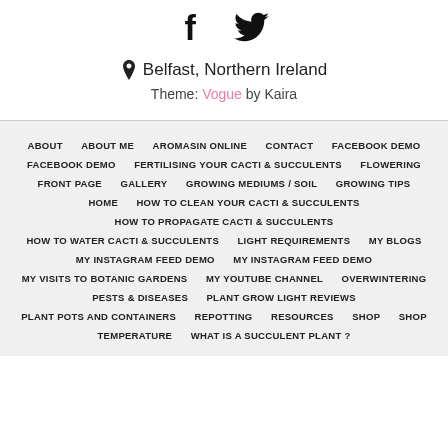[Figure (other): Social media icons: Facebook (f) and Twitter (bird) in black]
📍 Belfast, Northern Ireland
Theme: Vogue by Kaira
ABOUT · ABOUT ME · AROMASIN ONLINE · CONTACT · FACEBOOK DEMO · FACEBOOK DEMO · FERTILISING YOUR CACTI & SUCCULENTS · FLOWERING · FRONT PAGE · GALLERY · GROWING MEDIUMS / SOIL · GROWING TIPS · HOME · HOW TO CLEAN YOUR CACTI & SUCCULENTS · HOW TO PROPAGATE CACTI & SUCCULENTS · HOW TO WATER CACTI & SUCCULENTS · LIGHT REQUIREMENTS · MY BLOGS · MY INSTAGRAM FEED DEMO · MY INSTAGRAM FEED DEMO · MY VISITS TO BOTANIC GARDENS · MY YOUTUBE CHANNEL · OVERWINTERING · PESTS & DISEASES · PLANT GROW LIGHT REVIEWS · PLANT POTS AND CONTAINERS · REPOTTING · RESOURCES · SHOP · SHOP · TEMPERATURE · WHAT IS A SUCCULENT PLANT?